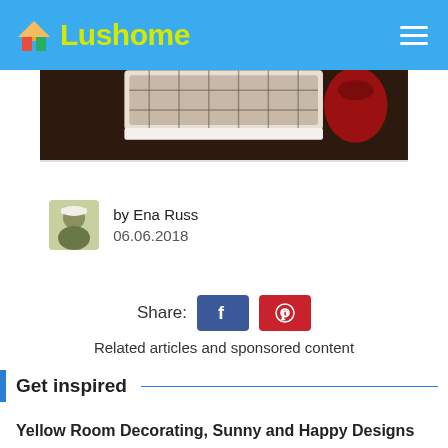Lushome
[Figure (photo): Partial photo of a decorative item on a dark wooden surface with a red object in the background]
by Ena Russ
06.06.2018
Share:
Related articles and sponsored content
Get inspired
Yellow Room Decorating, Sunny and Happy Designs